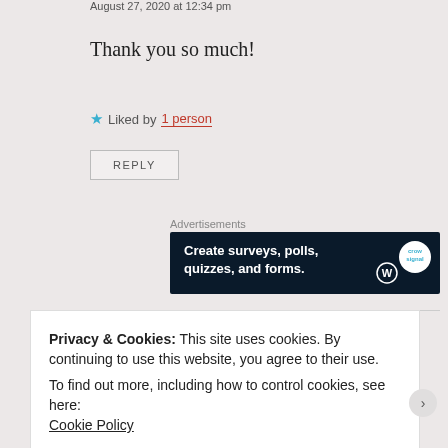August 27, 2020 at 12:34 pm
Thank you so much!
★ Liked by 1 person
REPLY
Advertisements
[Figure (other): Advertisement banner: 'Create surveys, polls, quizzes, and forms.' with WordPress logo and crowdsignal logo on dark navy background]
Privacy & Cookies: This site uses cookies. By continuing to use this website, you agree to their use.
To find out more, including how to control cookies, see here:
Cookie Policy
Close and accept